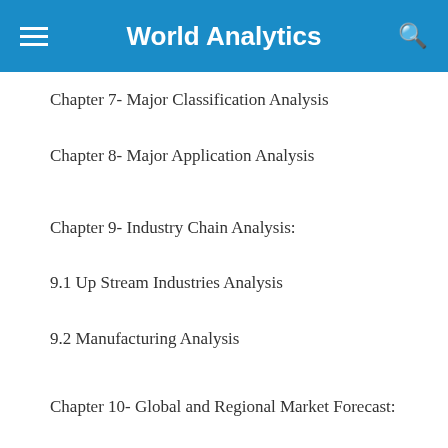World Analytics
Chapter 7- Major Classification Analysis
Chapter 8- Major Application Analysis
Chapter 9- Industry Chain Analysis:
9.1 Up Stream Industries Analysis
9.2 Manufacturing Analysis
Chapter 10- Global and Regional Market Forecast:
10.1 Production Market Forecast
10.2 Sales Market Forecast